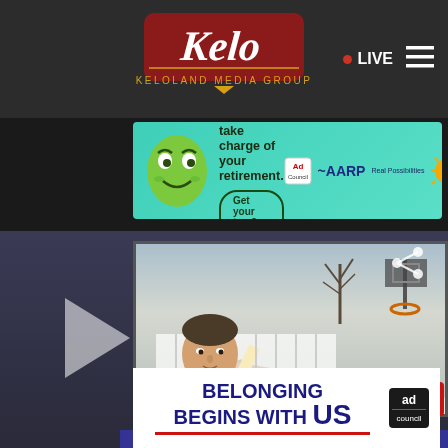[Figure (screenshot): KELOLAND Media Group website screenshot showing the navigation header with logo and LIVE button, an AARP advertisement banner, a news video player with an anchor man in a suit in front of a news desk screen showing storm/collapse damage, a share icon, a KELO watermark, a close button, and a bottom ad banner reading BELONGING BEGINS WITH US with Ad Council logo, and LOCA text in bottom left.]
KELOLAND Media Group — LIVE
It's not too late to take charge of your retirement. Get your top 3 tips → Ad Council AARP Real Possibilities
LOCA
BELONGING BEGINS WITH US